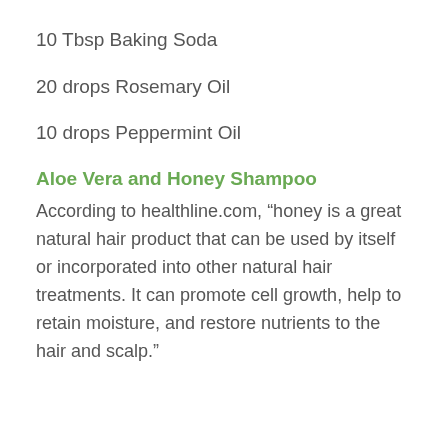10 Tbsp Baking Soda
20 drops Rosemary Oil
10 drops Peppermint Oil
Aloe Vera and Honey Shampoo
According to healthline.com, “honey is a great natural hair product that can be used by itself or incorporated into other natural hair treatments. It can promote cell growth, help to retain moisture, and restore nutrients to the hair and scalp.”